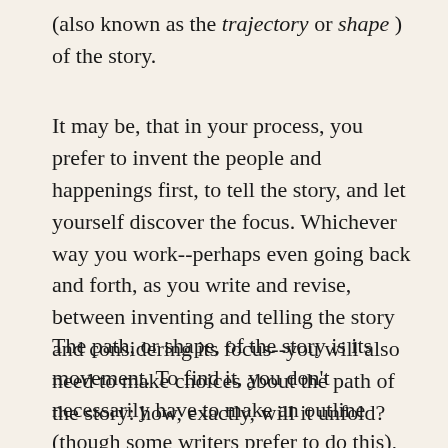(also known as the trajectory or shape ) of the story.
It may be, that in your process, you prefer to invent the people and happenings first, to tell the story, and let yourself discover the focus. Whichever way you work--perhaps even going back and forth, as you write and revise, between inventing and telling the story and considering its focus--you will also need to make choices about the path of the story: how, exactly, will it unfold?
The path, or shape, of the story is its movement. To find it, you don't necessarily have to make an outline (though some writers prefer to do this), but you do have to